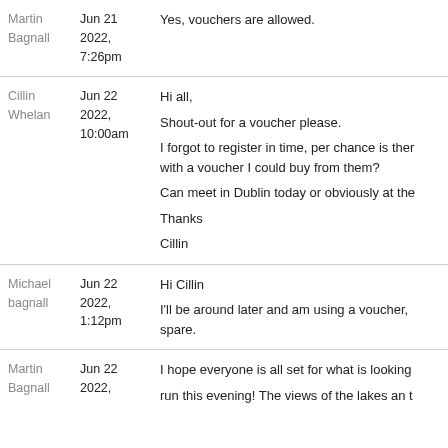Martin Bagnall | Jun 21 2022, 7:26pm | Yes, vouchers are allowed.
Cillin Whelan | Jun 22 2022, 10:00am | Hi all, Shout-out for a voucher please. I forgot to register in time, per chance is there someone with a voucher I could buy from them? Can meet in Dublin today or obviously at the event. Thanks Cillin
Michael bagnall | Jun 22 2022, 1:12pm | Hi Cillin I'll be around later and am using a voucher, I might have a spare.
Martin Bagnall | Jun 22 2022 | I hope everyone is all set for what is looking run this evening! The views of the lakes an t